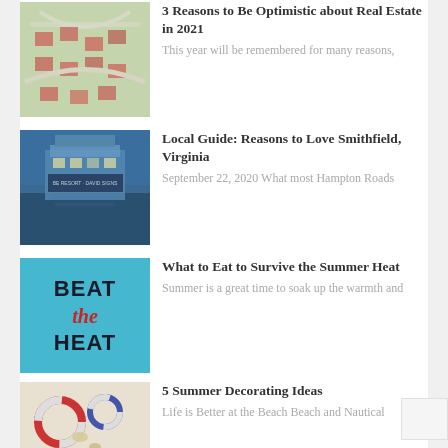[Figure (photo): Aerial view of residential neighborhood with curved streets]
3 Reasons to Be Optimistic about Real Estate in 2021
This year will be remembered for many reasons,
[Figure (photo): Waterfront pier at dusk with signage reading BE RESORT DAVID SIGNS]
Local Guide: Reasons to Love Smithfield, Virginia
September 22, 2020 What most Hampton Roads
[Figure (illustration): Beat the Heat graphic with blue background and red cursive text]
What to Eat to Survive the Summer Heat
Summer is a great time to soak up the warmth and
[Figure (photo): Summer beach decorating items including life rings and nautical decor]
5 Summer Decorating Ideas
Life is Better at the Beach Beach and Nautical